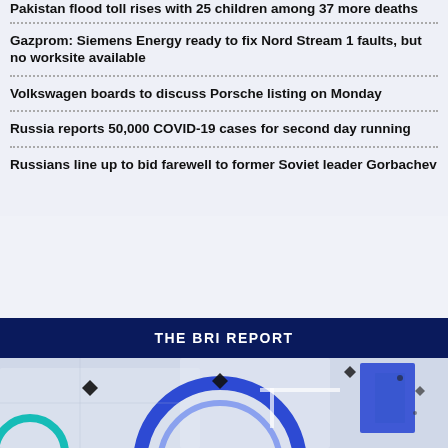Pakistan flood toll rises with 25 children among 37 more deaths
Gazprom: Siemens Energy ready to fix Nord Stream 1 faults, but no worksite available
Volkswagen boards to discuss Porsche listing on Monday
Russia reports 50,000 COVID-19 cases for second day running
Russians line up to bid farewell to former Soviet leader Gorbachev
THE BRI REPORT
[Figure (illustration): 3D illustration with blue circular elements, geometric shapes, diamonds and white architectural structures on a light background]